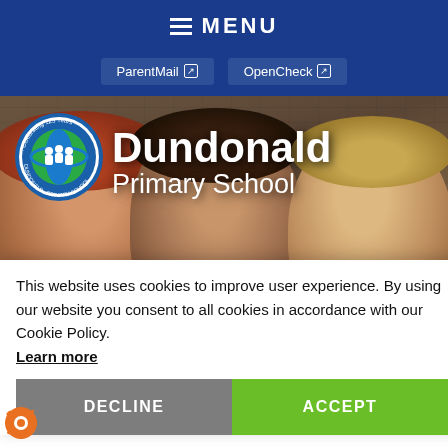MENU
ParentMail  OpenCheck
[Figure (photo): School website hero image showing three smiling children in school uniforms with Dundonald Primary School logo and name overlay. Logo is circular with globe and children motif, text 'Celebrating 125 Years · Dundonald Primary School'.]
Dundonald Primary School
In This
This website uses cookies to improve user experience. By using our website you consent to all cookies in accordance with our Cookie Policy. Learn more
DECLINE
ACCEPT